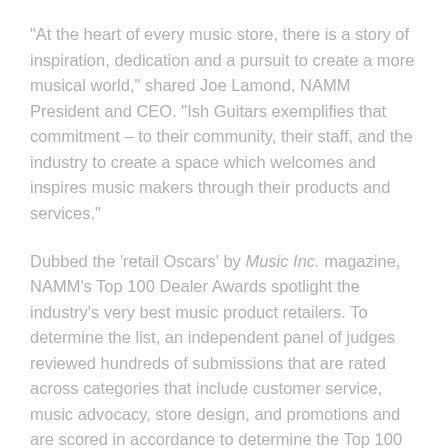“At the heart of every music store, there is a story of inspiration, dedication and a pursuit to create a more musical world,” shared Joe Lamond, NAMM President and CEO. “Ish Guitars exemplifies that commitment – to their community, their staff, and the industry to create a space which welcomes and inspires music makers through their products and services.”
Dubbed the ‘retail Oscars’ by Music Inc. magazine, NAMM’s Top 100 Dealer Awards spotlight the industry’s very best music product retailers. To determine the list, an independent panel of judges reviewed hundreds of submissions that are rated across categories that include customer service, music advocacy, store design, and promotions and are scored in accordance to determine the Top 100 list.